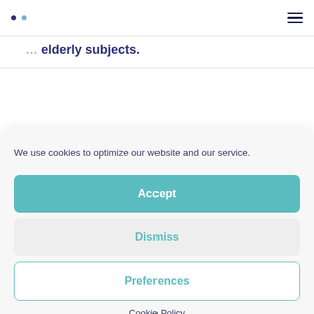navigation dots and hamburger menu
elderly subjects.
We use cookies to optimize our website and our service.
Accept
Dismiss
Preferences
Cookie Policy